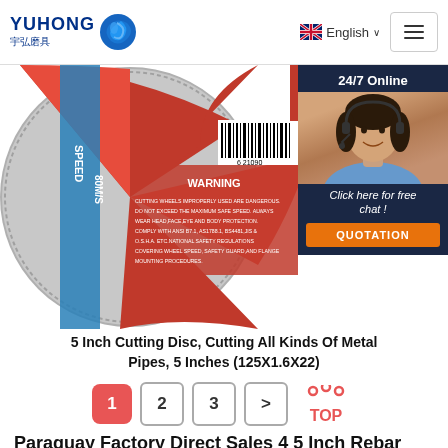YUHONG 宇弘磨具 — English
[Figure (photo): Close-up of a 5 inch cutting disc label showing SPEED 80M/S, WARNING text about safe use, barcode, and a 24/7 Online customer service chat widget with woman wearing headset]
5 Inch Cutting Disc, Cutting All Kinds Of Metal Pipes, 5 Inches (125X1.6X22)
1
2
3
>
TOP
Paraguay Factory Direct Sales 4 5 Inch Rebar